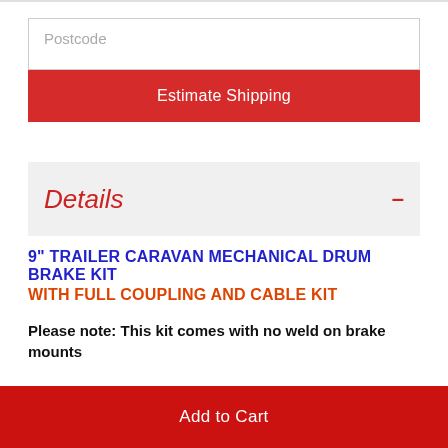Postcode
Estimate Shipping
Details
9" TRAILER CARAVAN MECHANICAL DRUM BRAKE KIT WITH FULL COUPLING AND CABLE KIT
Please note: This kit comes with no weld on brake mounts
Add to Cart